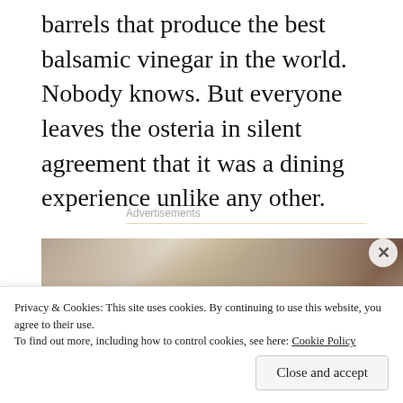barrels that produce the best balsamic vinegar in the world. Nobody knows. But everyone leaves the osteria in silent agreement that it was a dining experience unlike any other.
Advertisements
[Figure (photo): Blurred close-up photograph of metal chair legs and wooden furniture in a restaurant setting]
Privacy & Cookies: This site uses cookies. By continuing to use this website, you agree to their use. To find out more, including how to control cookies, see here: Cookie Policy